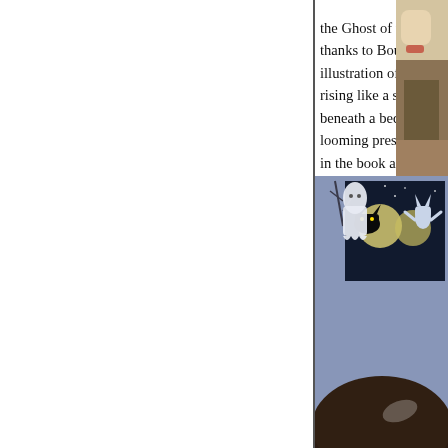the Ghost of the Night who steals the show, thanks to Boutavant’s incredibly vivid illustration of a giant, pointy-eared spectre rising like a smudge of dark charcoal from beneath a bedroom closet. This ghosts’ looming presence is unlike any other spirit in the book and would be terrifying…if he wasn’t smiling. Ghosts may be the stuff of nightmares, but these guys are an exceedingly likeable b
[Figure (photo): Partial photo on the right side showing a person, cropped]
[Figure (illustration): Illustration from a children's book showing a blue-walled bedroom scene with a ghost-like white figure hanging from above, a black cat silhouette in a window, and a white rabbit-like figure visible through the window against a night sky. A large dark rounded shape occupies the foreground.]